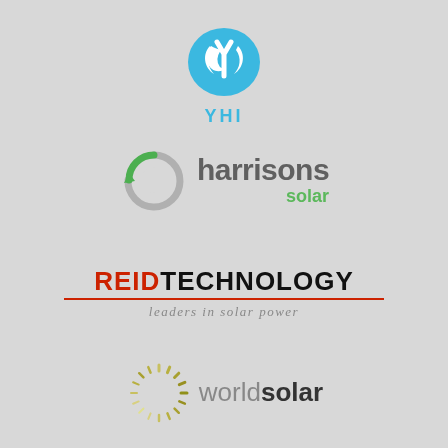[Figure (logo): YHI logo: blue oval with white swoosh/Y shape and 'YHI' text below in blue]
[Figure (logo): Harrisons Solar logo: grey/green circular swoosh icon with 'harrisons' in grey and 'solar' in green]
[Figure (logo): Reid Technology logo: 'REID' in red bold uppercase and 'TECHNOLOGY' in black bold uppercase with red underline, subtitle 'leaders in solar power' in grey italic]
[Figure (logo): World Solar logo: sun-ray circle icon in yellow/olive tones with 'world' in grey and 'solar' in dark grey/black bold]